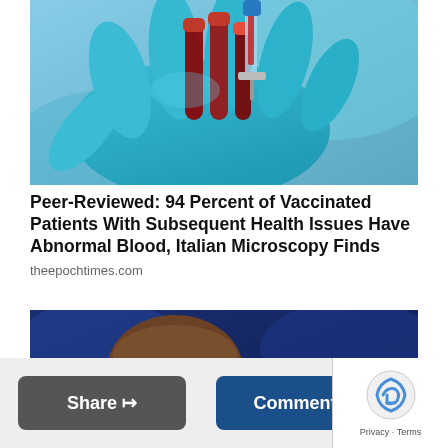[Figure (photo): Close-up of blue-gloved hand holding blood collection tubes and a syringe with dark red blood visible inside]
Peer-Reviewed: 94 Percent of Vaccinated Patients With Subsequent Health Issues Have Abnormal Blood, Italian Microscopy Finds
theepochtimes.com
[Figure (photo): Man in foreground with brown hair on a blue TV studio background; woman with blonde hair and glasses waving in the background]
Share
Comments
Privacy · Terms